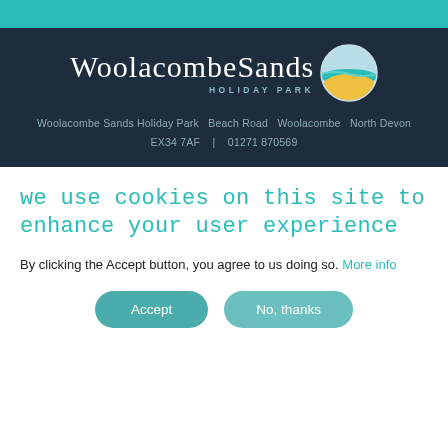Woolacombe Sands Holiday Park  Beach Road  Woolacombe  North Devon  EX34 7AF  |  01271 870569
[Figure (logo): Woolacombe Sands Holiday Park logo with handwritten-style wordmark and circular icon showing sea and sand layers]
we use cookies on this site to enhance your user experience
By clicking the Accept button, you agree to us doing so. More info
Accept
No, thanks